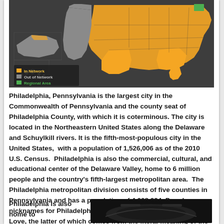[Figure (map): US map showing network coverage areas: orange states are In Network, gray states are Out of Network, green area marks Regional Area. Legend shown at bottom left of map.]
Philadelphia, Pennsylvania is the largest city in the Commonwealth of Pennsylvania and the county seat of Philadelphia County, with which it is coterminous. The city is located in the Northeastern United States along the Delaware and Schuylkill rivers. It is the fifth-most-populous city in the United States,  with a population of 1,526,006 as of the 2010 U.S. Census.  Philadelphia is also the commercial, cultural, and educational center of the Delaware Valley, home to 6 million people and the country's fifth-largest metropolitan area.  The Philadelphia metropolitan division consists of five counties in Pennsylvania and has a population of 4,008,994.  Popular nicknames for Philadelphia are Philly and The City of Brotherly Love, the latter of which comes from the literal meaning of the city's name in Greek.
Philadelphia is also home to
[Figure (photo): Dark photograph, appears to show interior of a vehicle]